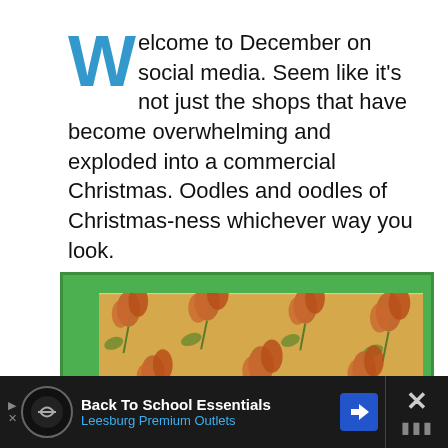Welcome to December on social media. Seem like it's not just the shops that have become overwhelming and exploded into a commercial Christmas. Oodles and oodles of Christmas-ness whichever way you look.
[Figure (photo): A photo of floral wallpaper with orange/red roses on a yellow background, framed by a green border. At the bottom of the image, a dark rectangular object with a blue light is partially visible.]
Back To School Essentials Leesburg Premium Outlets